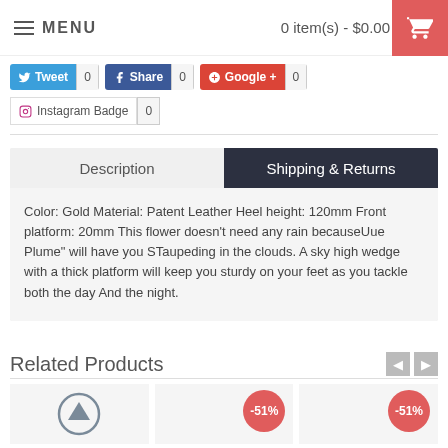MENU  |  0 item(s) - $0.00
[Figure (screenshot): Social sharing buttons: Tweet (0), Share (0), Google+ (0), Instagram Badge (0)]
Description | Shipping & Returns
Color: Gold Material: Patent Leather Heel height: 120mm Front platform: 20mm This flower doesn't need any rain becauseUue Plume" will have you STaupeding in the clouds. A sky high wedge with a thick platform will keep you sturdy on your feet as you tackle both the day And the night.
Related Products
[Figure (screenshot): Related products section with two product cards showing -51% discount badges and an up arrow circle icon]